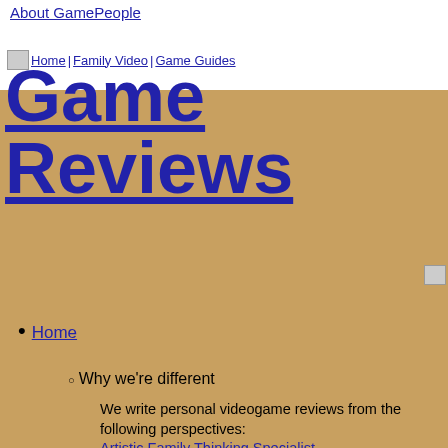About GamePeople
Home | Family Video | Game Guides
Game Reviews
[Figure (other): Small image placeholder icon (top-left nav)]
[Figure (other): Small image placeholder icon (right side)]
Home
Why we're different
We write personal videogame reviews from the following perspectives: Artistic Family Thinking Specialist Then there's Family Gamer TV for Let's Play Skylanders Swap Force and Disney Infinity
Come again?